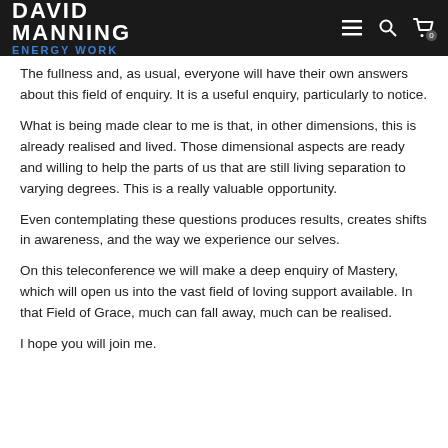DAVID MANNING ENERGY WORK
The fullness and, as usual, everyone will have their own answers about this field of enquiry. It is a useful enquiry, particularly to notice.
What is being made clear to me is that, in other dimensions, this is already realised and lived. Those dimensional aspects are ready and willing to help the parts of us that are still living separation to varying degrees. This is a really valuable opportunity.
Even contemplating these questions produces results, creates shifts in awareness, and the way we experience our selves.
On this teleconference we will make a deep enquiry of Mastery, which will open us into the vast field of loving support available. In that Field of Grace, much can fall away, much can be realised.
I hope you will join me.